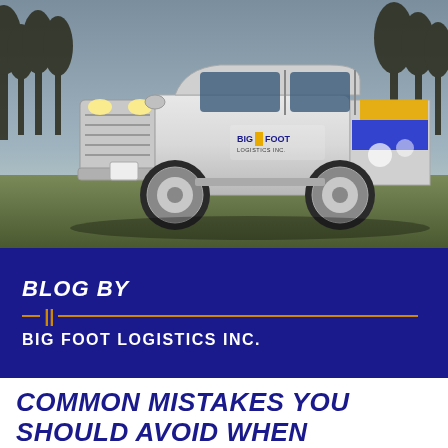[Figure (photo): A white Ford F-150 pickup truck branded with Big Foot Logistics Inc. logo and yellow/blue graphics on the rear panel, parked on grass with bare trees in the background at dusk.]
BLOG BY
BIG FOOT LOGISTICS INC.
COMMON MISTAKES YOU SHOULD AVOID WHEN